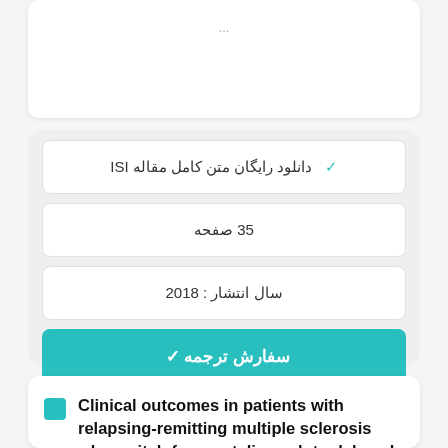دانلود رایگان متن کامل مقاله ISI ✓
35 صفحه
سال انتشار : 2018
✓ سفارش ترجمه
Clinical outcomes in patients with relapsing-remitting multiple sclerosis who switch from natalizumab to delayed-